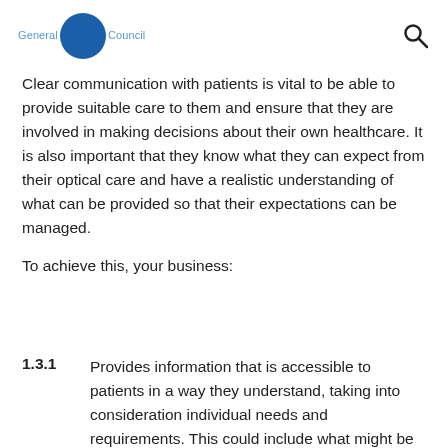General Optical Council
Clear communication with patients is vital to be able to provide suitable care to them and ensure that they are involved in making decisions about their own healthcare. It is also important that they know what they can expect from their optical care and have a realistic understanding of what can be provided so that their expectations can be managed.
To achieve this, your business:
1.3.1  Provides information that is accessible to patients in a way they understand, taking into consideration individual needs and requirements. This could include what might be